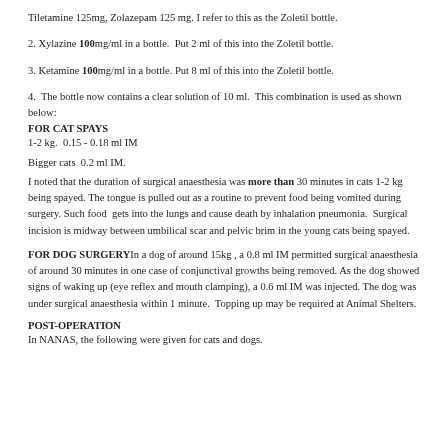Tiletamine 125mg, Zolazepam 125 mg. I refer to this as the Zoletil bottle.
2. Xylazine 100mg/ml in a bottle. Put 2 ml of this into the Zoletil bottle.
3. Ketamine 100mg/ml in a bottle. Put 8 ml of this into the Zoletil bottle.
4. The bottle now contains a clear solution of 10 ml. This combination is used as shown below:
FOR CAT SPAYS
1-2 kg. 0.15 - 0.18 ml IM
Bigger cats 0.2 ml IM.
I noted that the duration of surgical anaesthesia was more than 30 minutes in cats 1-2 kg being spayed. The tongue is pulled out as a routine to prevent food being vomited during surgery. Such food gets into the lungs and cause death by inhalation pneumonia. Surgical incision is midway between umbilical scar and pelvic brim in the young cats being spayed.
FOR DOG SURGERY In a dog of around 15kg , a 0.8 ml IM permitted surgical anaesthesia of around 30 minutes in one case of conjunctival growths being removed. As the dog showed signs of waking up (eye reflex and mouth clamping), a 0.6 ml IM was injected. The dog was under surgical anaesthesia within 1 minute. Topping up may be required at Animal Shelters.
POST-OPERATION
In NANAS, the following were given for cats and dogs.